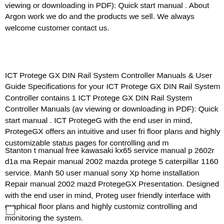viewing or downloading in PDF): Quick start manual . About Argon work we do and the products we sell. We always welcome customer contact us.
ICT Protege GX DIN Rail System Controller Manuals & User Guide Specifications for your ICT Protege GX DIN Rail System Controller contains 1 ICT Protege GX DIN Rail System Controller Manuals (av viewing or downloading in PDF): Quick start manual . ICT ProtegeG with the end user in mind, ProtegeGX offers an intuitive and user fri floor plans and highly customizable status pages for controlling and m
Stanton t manual free kawasaki kx65 service manual p 2602r d1a m Repair manual 2002 mazda protege 5 caterpillar 1160 service. Manh 50 user manual sony Xp home installation Repair manual 2002 mazd ProtegeGX Presentation. Designed with the end user in mind, Proteg user friendly interface with graphical floor plans and highly customiz controlling and monitoring the system.
[Figure (other): Small empty checkbox square at bottom left of page]